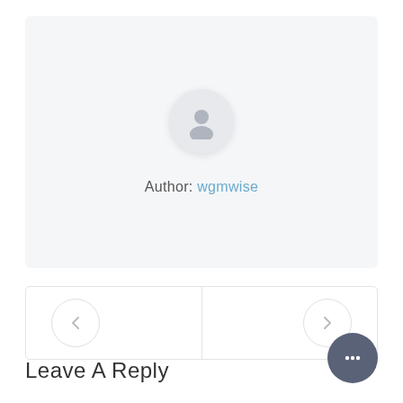[Figure (illustration): Author profile card with circular avatar placeholder icon and author name 'wgmwise' in blue text on light gray background]
Author: wgmwise
[Figure (infographic): Navigation bar with left arrow button on left half and right arrow button on right half, split by a vertical divider]
Leave A Reply
[Figure (illustration): Dark blue-gray circular chat bubble icon with three dots]